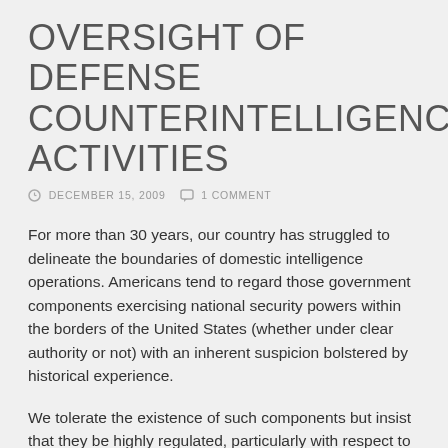OVERSIGHT OF DEFENSE COUNTERINTELLIGENCE ACTIVITIES
DECEMBER 15, 2009   1 COMMENT
For more than 30 years, our country has struggled to delineate the boundaries of domestic intelligence operations. Americans tend to regard those government components exercising national security powers within the borders of the United States (whether under clear authority or not) with an inherent suspicion bolstered by historical experience.
We tolerate the existence of such components but insist that they be highly regulated, particularly with respect to any activities that impinge upon civil society. Historical circumstances influence, but never erase, this regulatory imperative. Despite this imperative, components may occasionally pursue relentless pursuit of functions above...